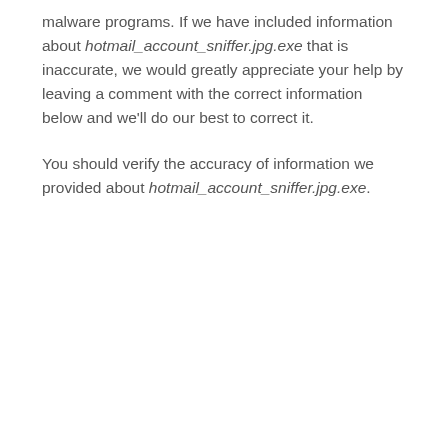malware programs. If we have included information about hotmail_account_sniffer.jpg.exe that is inaccurate, we would greatly appreciate your help by leaving a comment with the correct information below and we'll do our best to correct it.
You should verify the accuracy of information we provided about hotmail_account_sniffer.jpg.exe.